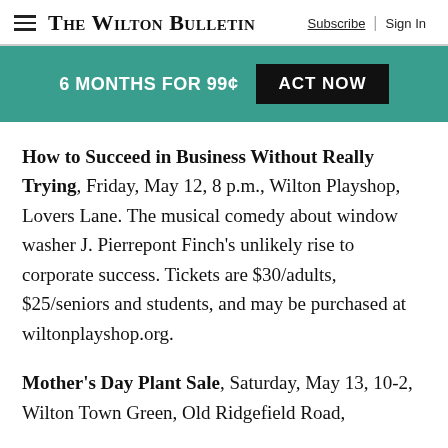The Wilton Bulletin | Subscribe | Sign In
[Figure (infographic): Promotional banner: 6 MONTHS FOR 99¢ ACT NOW on teal background]
How to Succeed in Business Without Really Trying, Friday, May 12, 8 p.m., Wilton Playshop, Lovers Lane. The musical comedy about window washer J. Pierrepont Finch's unlikely rise to corporate success. Tickets are $30/adults, $25/seniors and students, and may be purchased at wiltonplayshop.org.
Mother's Day Plant Sale, Saturday, May 13, 10-2, Wilton Town Green, Old Ridgefield Road,